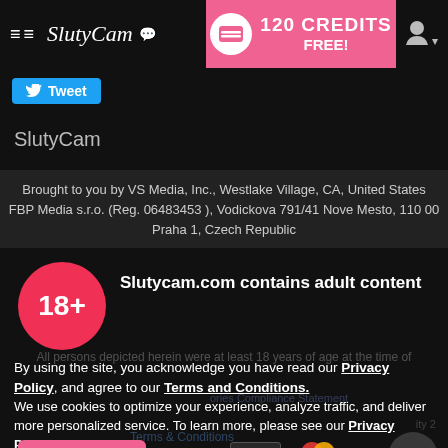≡ SlutyCam 💬  [120 CREDITS FREE! promo banner] [user icon]
[Figure (screenshot): Twitter Tweet button (blue)]
SlutyCam
Brought to you by VS Media, Inc., Westlake Village, CA, United States FBP Media s.r.o. (Reg. 06483453 ), Vodickova 791/41 Nove Mesto, 110 00 Praha 1, Czech Republic
[Figure (infographic): 18+ age restriction badge (red circle with '18+' text) alongside modal dialog: 'Slutycam.com contains adult content'. Modal contains consent text referencing Privacy Policy and Terms and Conditions, cookie notice, I AGREE button, payment icons (VISA, Mastercard), and scroll-to-top button.]
Slutycam.com contains adult content
By using the site, you acknowledge you have read our Privacy Policy, and agree to our Terms and Conditions.
We use cookies to optimize your experience, analyze traffic, and deliver more personalized service. To learn more, please see our Privacy Policy.
I AGREE